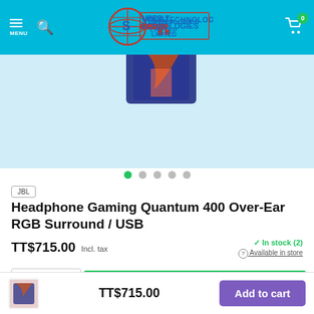Super Technologies Limited — navigation header with menu, search, logo, cart (0)
[Figure (photo): Partial product image of JBL Quantum 400 headphone box on light blue background]
JBL
Headphone Gaming Quantum 400 Over-Ear RGB Surround / USB
TT$715.00  Incl. tax
✓ In stock (2)
⊙ Available in store
TT$715.00  Add to cart